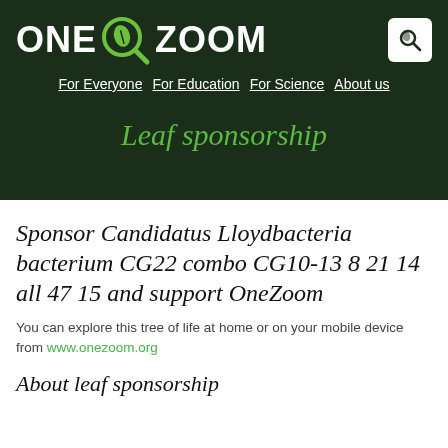[Figure (logo): OneZoom logo with magnifying glass and leaf icon on dark green background]
For Everyone  For Education  For Science  About us
Leaf sponsorship
Sponsor Candidatus Lloydbacteria bacterium CG22 combo CG10-13 8 21 14 all 47 15 and support OneZoom
You can explore this tree of life at home or on your mobile device from www.onezoom.org
About leaf sponsorship